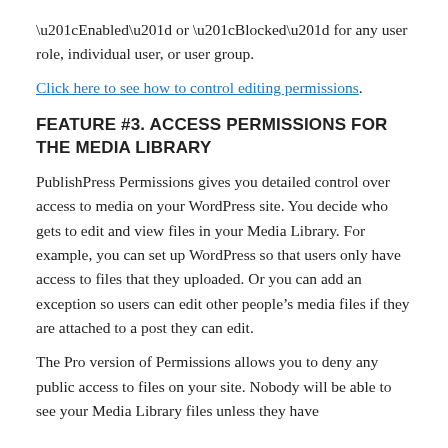“Enabled” or “Blocked” for any user role, individual user, or user group.
Click here to see how to control editing permissions.
FEATURE #3. ACCESS PERMISSIONS FOR THE MEDIA LIBRARY
PublishPress Permissions gives you detailed control over access to media on your WordPress site. You decide who gets to edit and view files in your Media Library. For example, you can set up WordPress so that users only have access to files that they uploaded. Or you can add an exception so users can edit other people’s media files if they are attached to a post they can edit.
The Pro version of Permissions allows you to deny any public access to files on your site. Nobody will be able to see your Media Library files unless they have